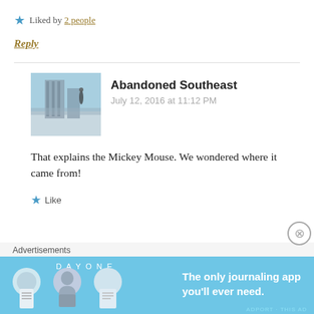Liked by 2 people
Reply
Abandoned Southeast
July 12, 2016 at 11:12 PM
[Figure (photo): Avatar photo of a building/construction site against a blue sky]
That explains the Mickey Mouse. We wondered where it came from!
Like
Advertisements
[Figure (screenshot): Day One journaling app advertisement banner with icons and tagline 'The only journaling app you'll ever need.']